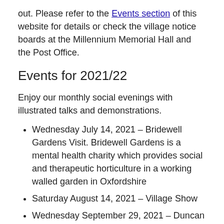out. Please refer to the Events section of this website for details or check the village notice boards at the Millennium Memorial Hall and the Post Office.
Events for 2021/22
Enjoy our monthly social evenings with illustrated talks and demonstrations.
Wednesday July 14, 2021 – Bridewell Gardens Visit. Bridewell Gardens is a mental health charity which provides social and therapeutic horticulture in a working walled garden in Oxfordshire
Saturday August 14, 2021 – Village Show
Wednesday September 29, 2021 – Duncan Coombs Talk: Autumn Colour in the Garden
Wednesday October 27, 2021 – Michael Brown Talk: Death in the Garden